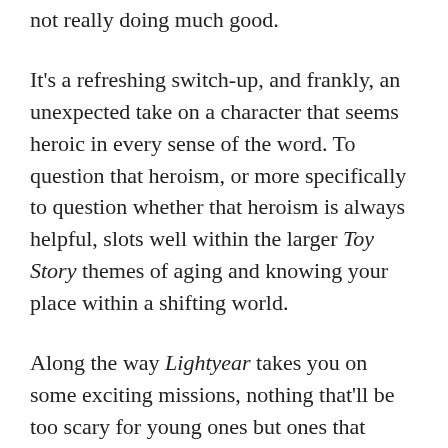not really doing much good.
It's a refreshing switch-up, and frankly, an unexpected take on a character that seems heroic in every sense of the word. To question that heroism, or more specifically to question whether that heroism is always helpful, slots well within the larger Toy Story themes of aging and knowing your place within a shifting world.
Along the way Lightyear takes you on some exciting missions, nothing that'll be too scary for young ones but ones that definitely lean into the action a space ranger story promises. In true Pixar fashion, though, it's the side characters that steal the show, with the ragtag group following Buzz around being a winning foil to his overconfidence.
There's Keke Palmer voicing the young, eager Izzy, the